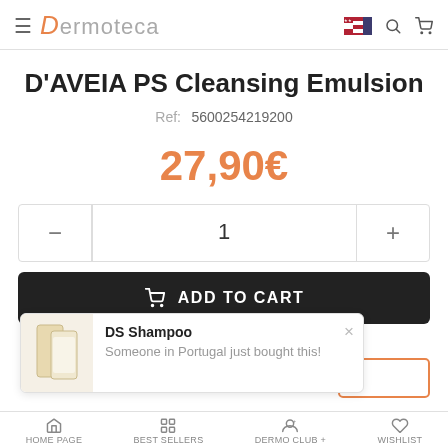Dermoteca
D'AVEIA PS Cleansing Emulsion
Ref: 5600254219200
27,90€
1
ADD TO CART
DS Shampoo
Someone in Portugal just bought this!
HOME PAGE   BEST SELLERS   DERMO CLUB +   WISHLIST